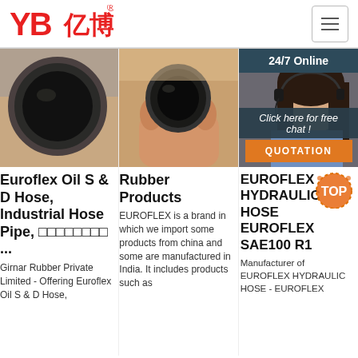[Figure (logo): YB亿博 logo in red with registered trademark symbol]
[Figure (photo): Close-up of end of large black rubber hydraulic hose held in hand]
Euroflex Oil S & D Hose, Industrial Hose Pipe, □□□□□□□□ ...
Girnar Rubber Private Limited - Offering Euroflex Oil S & D Hose,
[Figure (photo): Hand holding end of small black rubber hydraulic hose]
Rubber Products
EUROFLEX is a brand in which we import some products from china and some are manufactured in India. It includes products such as
[Figure (photo): Customer service representative woman with headset smiling, 24/7 Online banner overlay, chat and QUOTATION button]
EUROFLEX HYDRAULIC HOSE EUROFLEX SAE100 R1
Manufacturer of EUROFLEX HYDRAULIC HOSE - EUROFLEX